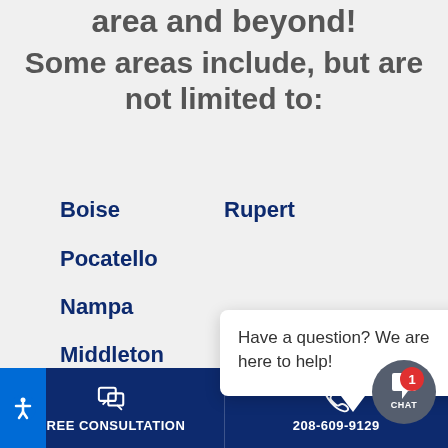area and beyond! Some areas include, but are not limited to:
Boise
Rupert
Pocatello
Nampa
Middleton
Meridian
Have a question? We are here to help!
FREE CONSULTATION   208-609-9129